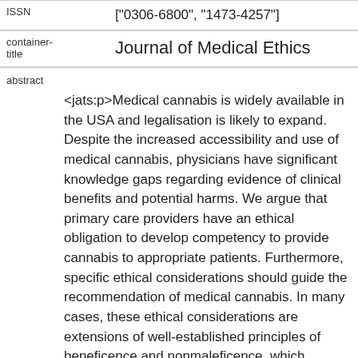ISSN
["0306-6800", "1473-4257"]
container-title
Journal of Medical Ethics
abstract
<jats:p>Medical cannabis is widely available in the USA and legalisation is likely to expand. Despite the increased accessibility and use of medical cannabis, physicians have significant knowledge gaps regarding evidence of clinical benefits and potential harms. We argue that primary care providers have an ethical obligation to develop competency to provide cannabis to appropriate patients. Furthermore, specific ethical considerations should guide the recommendation of medical cannabis. In many cases, these ethical considerations are extensions of well-established principles of beneficence and nonmaleficence, which indicate that providers should recommend cannabis only for conditions that have the strongest